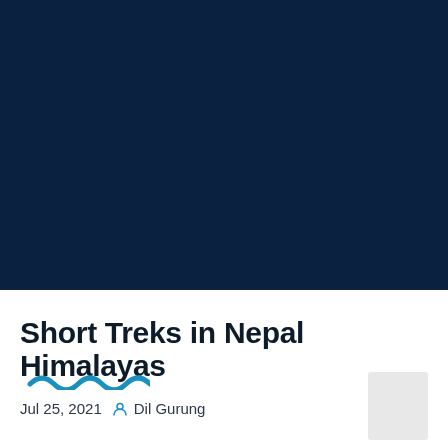[Figure (photo): Dark navy blue hero banner image background]
Short Treks in Nepal Himalayas
Short Treks in Nepal Himalayas
Jul 25, 2021   Dil Gurung